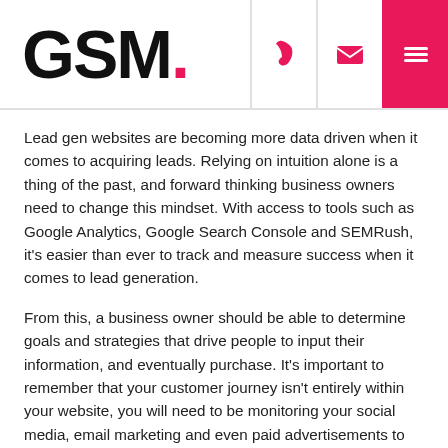GSM.
Lead gen websites are becoming more data driven when it comes to acquiring leads. Relying on intuition alone is a thing of the past, and forward thinking business owners need to change this mindset. With access to tools such as Google Analytics, Google Search Console and SEMRush, it's easier than ever to track and measure success when it comes to lead generation.
From this, a business owner should be able to determine goals and strategies that drive people to input their information, and eventually purchase. It's important to remember that your customer journey isn't entirely within your website, you will need to be monitoring your social media, email marketing and even paid advertisements to determine what works the best.
Keep content fresh
A